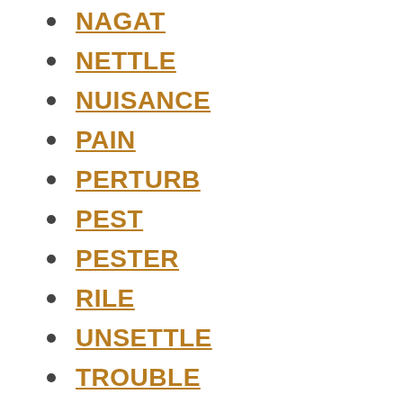NAGAT
NETTLE
NUISANCE
PAIN
PERTURB
PEST
PESTER
RILE
UNSETTLE
TROUBLE
WEARON
TODO
TEASE